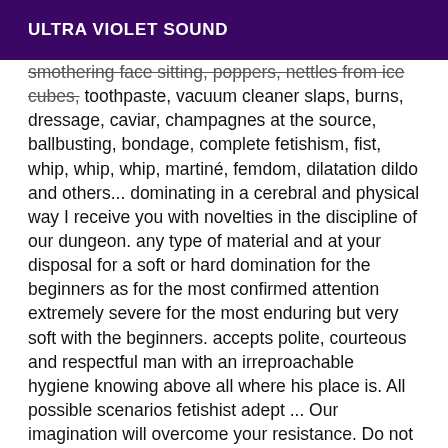ULTRA VIOLET SOUND
smothering face sitting, poppers, nettles from ice cubes, toothpaste, vacuum cleaner slaps, burns, dressage, caviar, champagnes at the source, ballbusting, bondage, complete fetishism, fist, whip, whip, whip, martiné, femdom, dilatation dildo and others... dominating in a cerebral and physical way I receive you with novelties in the discipline of our dungeon. any type of material and at your disposal for a soft or hard domination for the beginners as for the most confirmed attention extremely severe for the most enduring but very soft with the beginners. accepts polite, courteous and respectful man with an irreproachable hygiene knowing above all where his place is. All possible scenarios fetishist adept ... Our imagination will overcome your resistance. Do not forget that this must remain a role play under control. Novice or initiated you will find a torture dedicated to you. Contact us and deserve the privilege to meet the Mistresses that we are. DO NOT ANSWER PRIVATE CALLS, SMS OR